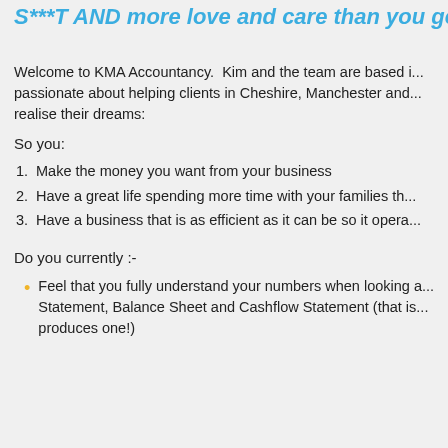S***T AND more love and care than you get fr...
Welcome to KMA Accountancy. Kim and the team are based i... passionate about helping clients in Cheshire, Manchester and... realise their dreams:
So you:
Make the money you want from your business
Have a great life spending more time with your families th...
Have a business that is as efficient as it can be so it opera...
Do you currently :-
Feel that you fully understand your numbers when looking a... Statement, Balance Sheet and Cashflow Statement (that is... produces one!)